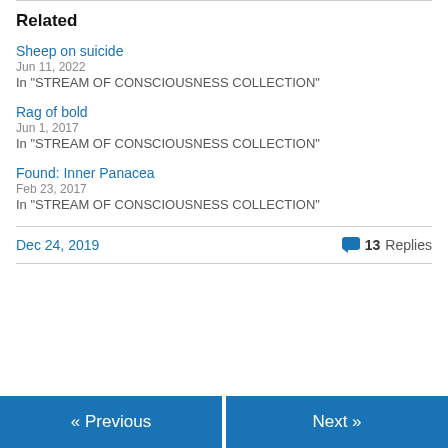Related
Sheep on suicide
Jun 11, 2022
In "STREAM OF CONSCIOUSNESS COLLECTION"
Rag of bold
Jun 1, 2017
In "STREAM OF CONSCIOUSNESS COLLECTION"
Found: Inner Panacea
Feb 23, 2017
In "STREAM OF CONSCIOUSNESS COLLECTION"
Dec 24, 2019   13 Replies
« Previous   Next »